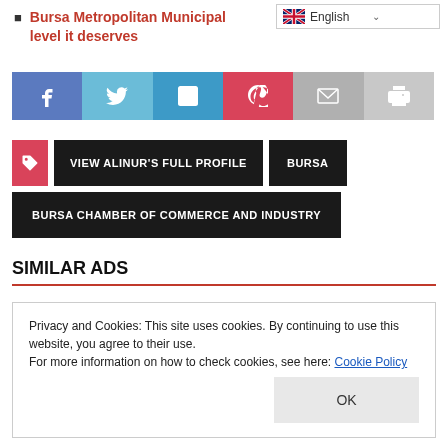Bursa Metropolitan Municipal level it deserves
[Figure (screenshot): Language selector dropdown showing English with flag icon]
[Figure (screenshot): Social share bar with Facebook, Twitter, LinkedIn, Pinterest, Email, Print buttons]
[Figure (screenshot): Tag icon button, VIEW ALINUR'S FULL PROFILE button, BURSA button in dark background]
[Figure (screenshot): BURSA CHAMBER OF COMMERCE AND INDUSTRY button in dark background]
SIMILAR ADS
Privacy and Cookies: This site uses cookies. By continuing to use this website, you agree to their use. For more information on how to check cookies, see here: Cookie Policy